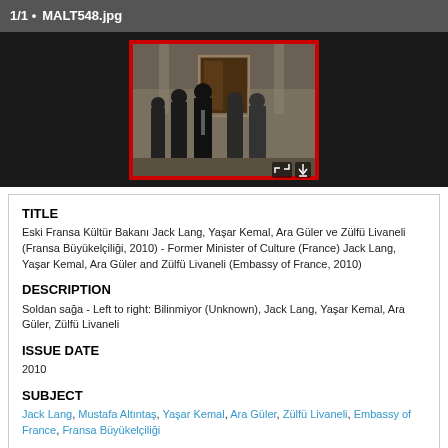1/1 • MALT548.jpg
[Figure (photo): Group photo of five men standing in front of a building with a large door. Black and white/dark toned photograph with red border frame. Icons for fullscreen and download visible in bottom right corner.]
TITLE
Eski Fransa Kültür Bakanı Jack Lang, Yaşar Kemal, Ara Güler ve Zülfü Livaneli (Fransa Büyükelçiliği, 2010) - Former Minister of Culture (France) Jack Lang, Yaşar Kemal, Ara Güler and Zülfü Livaneli (Embassy of France, 2010)
DESCRIPTION
Soldan sağa - Left to right: Bilinmiyor (Unknown), Jack Lang, Yaşar Kemal, Ara Güler, Zülfü Livaneli
ISSUE DATE
2010
SUBJECT
Jack Lang, Mustafa Altıntaş, Yaşar Kemal, Ara Güler, Zülfü Livaneli, Embassy of France, Fransa Büyükelçiliği
LOCATION